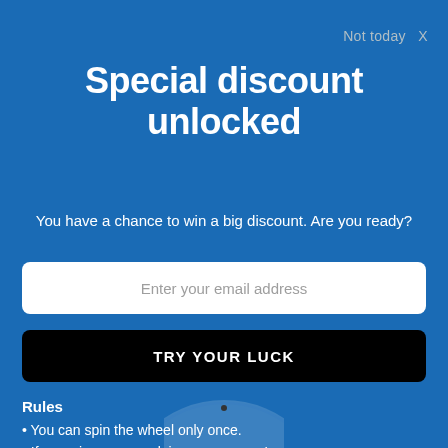Not today  X
Special discount unlocked
You have a chance to win a big discount. Are you ready?
Enter your email address
TRY YOUR LUCK
Rules
You can spin the wheel only once.
If you win, you can claim your coupon!